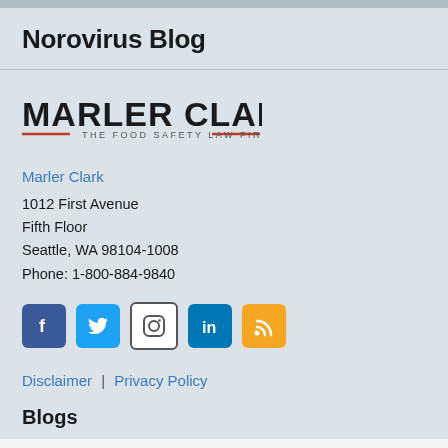Norovirus Blog
[Figure (logo): Marler Clark — The Food Safety Law Firm logo with bold black text and red decorative lines]
Marler Clark
1012 First Avenue
Fifth Floor
Seattle, WA 98104-1008
Phone: 1-800-884-9840
[Figure (infographic): Row of social media icons: Facebook (blue), Twitter (blue), Instagram (white/gray), LinkedIn (blue), RSS (orange)]
Disclaimer | Privacy Policy
Blogs